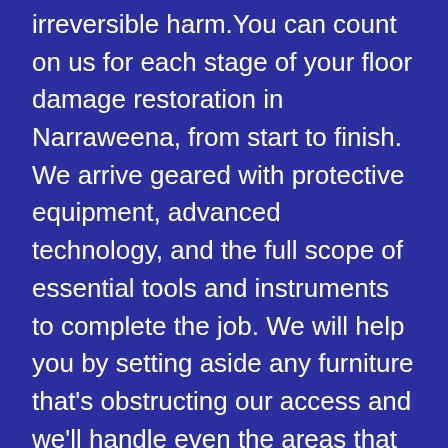irreversible harm.You can count on us for each stage of your floor damage restoration in Narraweena, from start to finish. We arrive geared with protective equipment, advanced technology, and the full scope of essential tools and instruments to complete the job. We will help you by setting aside any furniture that's obstructing our access and we'll handle even the areas that are difficult to reach. The cherry on top is that our solutions are accessible to everyone as a result of their competitive rates.